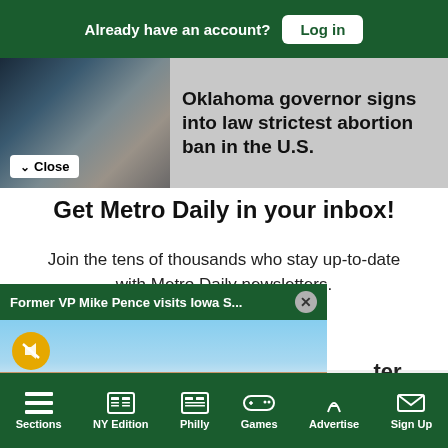Already have an account? Log in
[Figure (screenshot): News article thumbnail showing dark artistic image, with Close button overlay]
Oklahoma governor signs into law strictest abortion ban in the U.S.
Get Metro Daily in your inbox!
Join the tens of thousands who stay up-to-date with Metro Daily newsletters.
[Figure (screenshot): Video popup: Former VP Mike Pence visits Iowa S... with X close button, showing brick stadium building with blue sky, mute button overlay]
ter
Sections | NY Edition | Philly | Games | Advertise | Sign Up